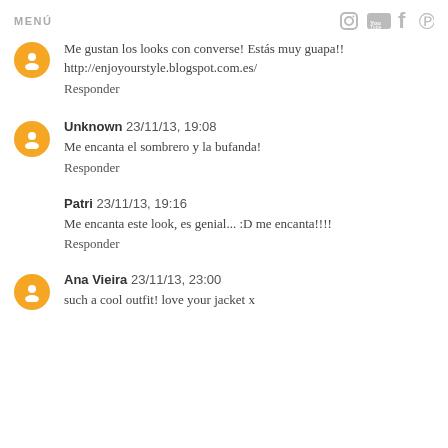MENÚ
Me gustan los looks con converse! Estás muy guapa!!
http://enjoyourstyle.blogspot.com.es/
Responder
Unknown 23/11/13, 19:08
Me encanta el sombrero y la bufanda!
Responder
Patri 23/11/13, 19:16
Me encanta este look, es genial... :D me encanta!!!!
Responder
Ana Vieira 23/11/13, 23:00
such a cool outfit! love your jacket x